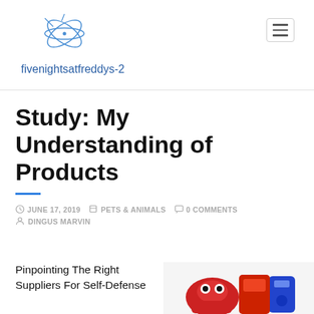[Figure (logo): Star/atom style blue logo icon for fivenightsatfreddys-2 website]
fivenightsatfreddys-2
Study: My Understanding of Products
JUNE 17, 2019   PETS & ANIMALS   0 COMMENTS   DINGUS MARVIN
Pinpointing The Right Suppliers For Self-Defense